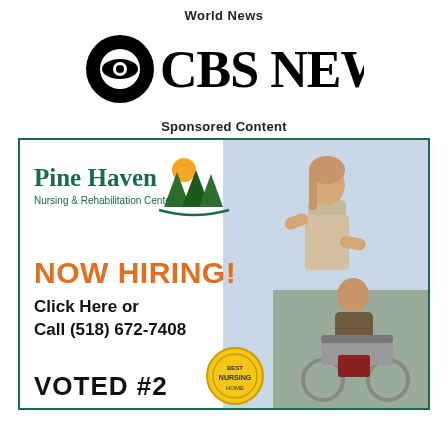World News
[Figure (logo): CBS News logo with eye icon]
Sponsored Content
[Figure (infographic): Pine Haven Nursing & Rehabilitation Center advertisement. NOW HIRING! Click Here or Call (518) 672-7408. VOTED #2. Features a photo of a nurse with an elderly patient in a wheelchair.]